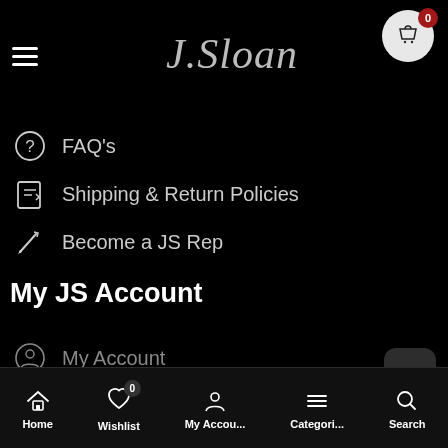J.Sloan — navigation menu header with hamburger, logo, and cart icon (badge: 0)
FAQ's
Shipping & Return Policies
Become a JS Rep
My JS Account
My Account
Order Tracking
Home | Wishlist (0) | My Accou... | Categori... | Search